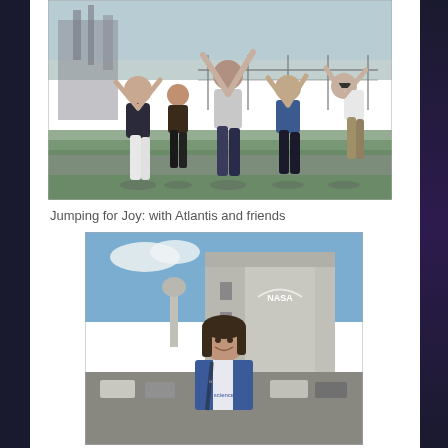[Figure (photo): Four people jumping in the air with arms raised, outdoors near a fence with industrial/launch structures visible in the background. Grass and road visible below.]
Jumping for Joy: with Atlantis and friends
[Figure (photo): A woman smiling in front of the NASA Vehicle Assembly Building (VAB). She is wearing a blue and white shirt with 'science' text. Cars and parking lot visible, blue sky with clouds.]